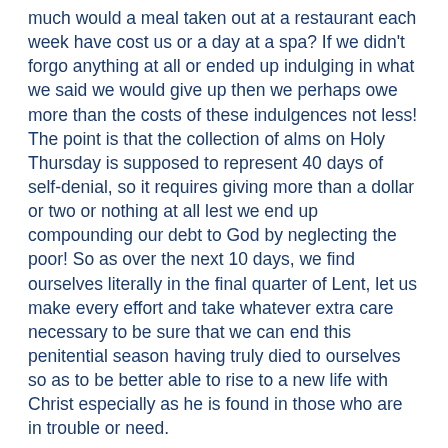much would a meal taken out at a restaurant each week have cost us or a day at a spa? If we didn't forgo anything at all or ended up indulging in what we said we would give up then we perhaps owe more than the costs of these indulgences not less! The point is that the collection of alms on Holy Thursday is supposed to represent 40 days of self-denial, so it requires giving more than a dollar or two or nothing at all lest we end up compounding our debt to God by neglecting the poor! So as over the next 10 days, we find ourselves literally in the final quarter of Lent, let us make every effort and take whatever extra care necessary to be sure that we can end this penitential season having truly died to ourselves so as to be better able to rise to a new life with Christ especially as he is found in those who are in trouble or need.
Palm Sunday of the Lord's Passion: On next weekend palms will be blessed and distributed and the Passion of the Lord will be proclaimed at all Masses. Baskets to collect old